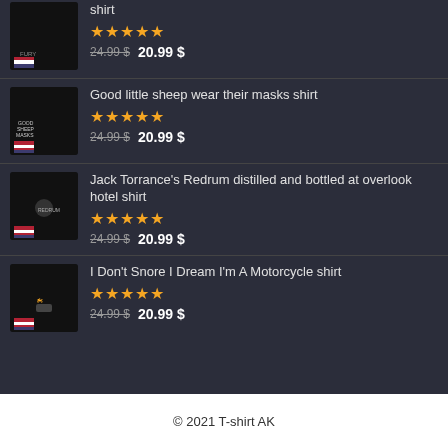[Figure (screenshot): Product listing item 1 - t-shirt product image (partial, top cut off)]
shirt
★★★★★
24.99 $  20.99 $
[Figure (screenshot): Product listing item 2 - black t-shirt with Good little sheep text]
Good little sheep wear their masks shirt
★★★★★
24.99 $  20.99 $
[Figure (screenshot): Product listing item 3 - black t-shirt Redrum]
Jack Torrance's Redrum distilled and bottled at overlook hotel shirt
★★★★★
24.99 $  20.99 $
[Figure (screenshot): Product listing item 4 - black t-shirt motorcycle]
I Don't Snore I Dream I'm A Motorcycle shirt
★★★★★
24.99 $  20.99 $
© 2021 T-shirt AK